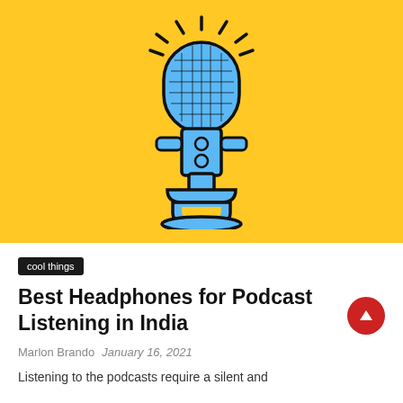[Figure (illustration): Blue podcast microphone illustration on a yellow background. The microphone has a rounded mesh head with radiating lines suggesting sound/light, a cylindrical body with circular details, side arms, and a wide base stand. Drawn in bold black outlines with blue fill on yellow (#FFC825) background.]
cool things
Best Headphones for Podcast Listening in India
Marlon Brando   January 16, 2021
Listening to the podcasts require a silent and